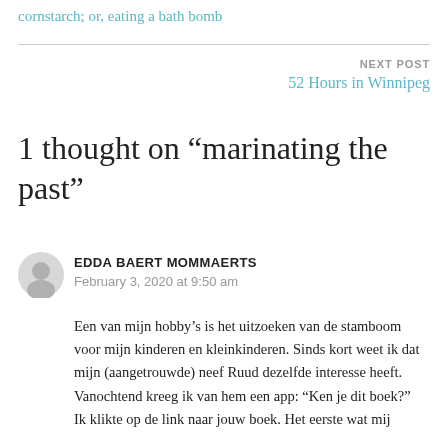cornstarch; or, eating a bath bomb
NEXT POST
52 Hours in Winnipeg
1 thought on “marinating the past”
EDDA BAERT MOMMAERTS
February 3, 2020 at 9:50 am
Een van mijn hobby’s is het uitzoeken van de stamboom voor mijn kinderen en kleinkinderen. Sinds kort weet ik dat mijn (aangetrouwde) neef Ruud dezelfde interesse heeft. Vanochtend kreeg ik van hem een app: “Ken je dit boek?” Ik klikte op de link naar jouw boek. Het eerste wat mij